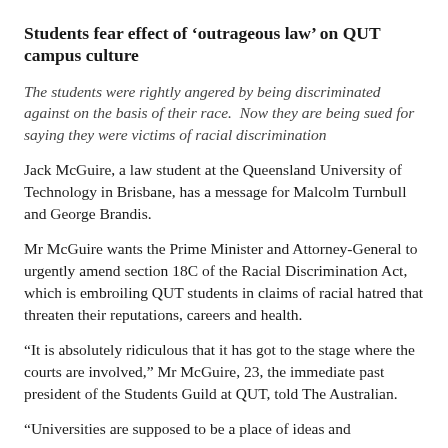Students fear effect of ‘outrageous law’ on QUT campus culture
The students were rightly angered by being discriminated against on the basis of their race.  Now they are being sued for saying they were victims of racial discrimination
Jack McGuire, a law student at the Queensland University of Technology in Brisbane, has a message for Malcolm Turnbull and George Brandis.
Mr McGuire wants the Prime Minister and Attorney-General to urgently amend section 18C of the Racial Discrimination Act, which is embroiling QUT students in claims of racial hatred that threaten their reputations, careers and health.
"It is absolutely ridiculous that it has got to the stage where the courts are involved," Mr McGuire, 23, the immediate past president of the Students Guild at QUT, told The Australian.
"Universities are supposed to be a place of ideas and